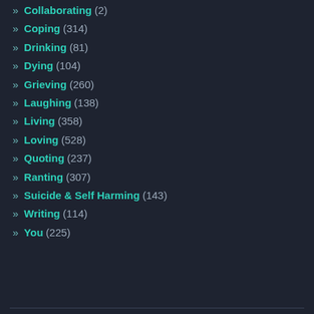» Collaborating (2)
» Coping (314)
» Drinking (81)
» Dying (104)
» Grieving (260)
» Laughing (138)
» Living (358)
» Loving (528)
» Quoting (237)
» Ranting (307)
» Suicide & Self Harming (143)
» Writing (114)
» You (225)